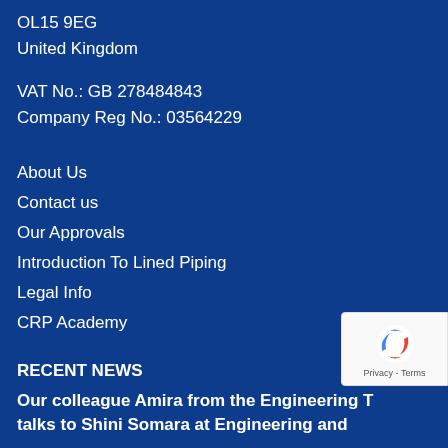OL15 9EG
United Kingdom
VAT No.: GB 278484843
Company Reg No.: 03564229
About Us
Contact us
Our Approvals
Introduction To Lined Piping
Legal Info
CRP Academy
RECENT NEWS
Our colleague Amira from the Engineering T talks to Shini Somara at Engineering and